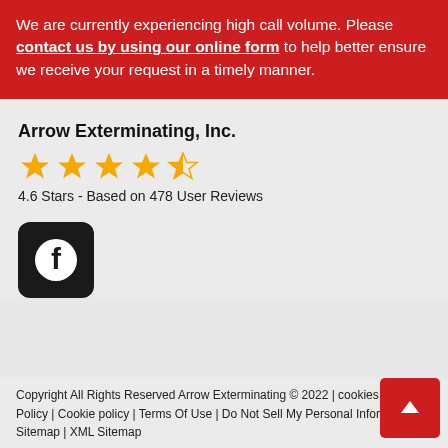We are currently experiencing high call volume. Please contact us by using our online form to help better ensure we receive your request in a timely manner.
Arrow Exterminating, Inc.
[Figure (other): Star rating: 4.6 out of 5 stars (4 full stars and 1 half star), gold colored]
4.6 Stars - Based on 478 User Reviews
[Figure (logo): Facebook icon in white on a dark rounded square background]
Copyright All Rights Reserved Arrow Exterminating © 2022 | cookies | Privacy Policy | Cookie policy | Terms Of Use | Do Not Sell My Personal Information | Sitemap | XML Sitemap